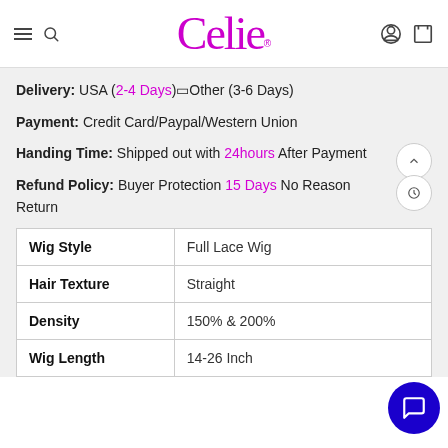Celie® [navigation header with hamburger, search, user, cart icons]
Delivery: USA (2-4 Days)🔲Other (3-6 Days)
Payment: Credit Card/Paypal/Western Union
Handing Time: Shipped out with 24hours After Payment
Refund Policy: Buyer Protection 15 Days No Reason Return
| Wig Style | Full Lace Wig |
| --- | --- |
| Hair Texture | Straight |
| Density | 150% & 200% |
| Wig Length | 14-26 Inch |